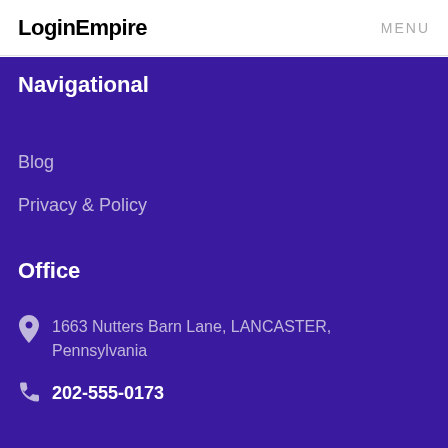LoginEmpire   MENU
Navigational
Blog
Privacy & Policy
Office
1663 Nutters Barn Lane, LANCASTER, Pennsylvania
202-555-0173